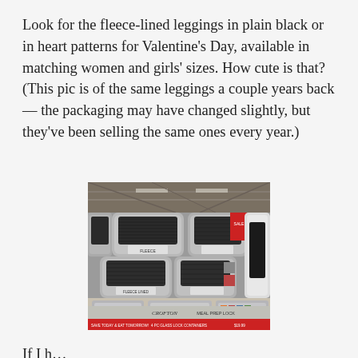Look for the fleece-lined leggings in plain black or in heart patterns for Valentine's Day, available in matching women and girls' sizes. How cute is that? (This pic is of the same leggings a couple years back — the packaging may have changed slightly, but they've been selling the same ones every year.)
[Figure (photo): Photo of stacked packaged black fleece-lined leggings on a warehouse store (Costco) shelf. The packages are black/grey. A red sale sign is visible. Bottom shelf shows Crofton meal prep lock containers with a red price strip reading sale information.]
If I h...